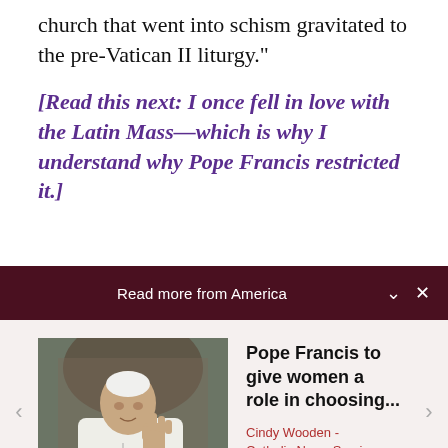church that went into schism gravitated to the pre-Vatican II liturgy.”
[Read this next: I once fell in love with the Latin Mass—which is why I understand why Pope Francis restricted it.]
Read more from America
[Figure (photo): Photo of Pope Francis in white papal vestments, gesturing with his hand, seated in front of a dark background]
Pope Francis to give women a role in choosing...
Cindy Wooden - Catholic News Service